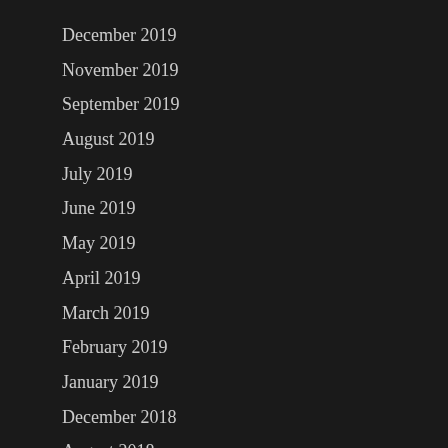December 2019
November 2019
September 2019
August 2019
July 2019
June 2019
May 2019
April 2019
March 2019
February 2019
January 2019
December 2018
August 2018
July 2018
June 2018